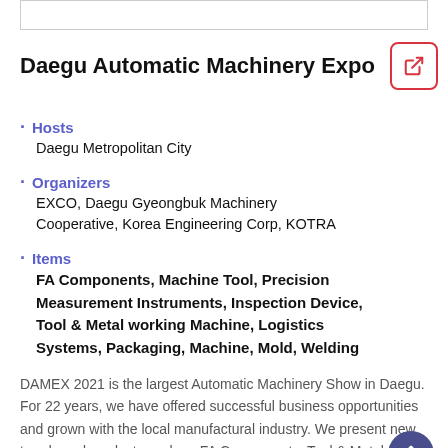[Figure (other): Empty box/image placeholder at top of page]
Daegu Automatic Machinery Expo
Hosts
Daegu Metropolitan City
Organizers
EXCO, Daegu Gyeongbuk Machinery Cooperative, Korea Engineering Corp, KOTRA
Items
FA Components, Machine Tool, Precision Measurement Instruments, Inspection Device, Tool & Metal working Machine, Logistics Systems, Packaging, Machine, Mold, Welding
DAMEX 2021 is the largest Automatic Machinery Show in Daegu. For 22 years, we have offered successful business opportunities and grown with the local manufactural industry. We present new trends and products such as FA Components, Tool & Metal working Machine, Machine